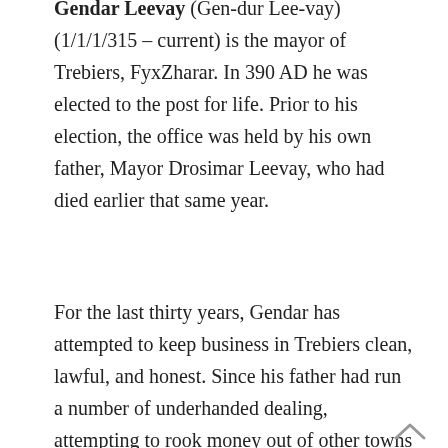Gendar Leevay (Gen-dur Lee-vay) (1/1/1/315 – current) is the mayor of Trebiers, FyxZharar. In 390 AD he was elected to the post for life. Prior to his election, the office was held by his own father, Mayor Drosimar Leevay, who had died earlier that same year.
For the last thirty years, Gendar has attempted to keep business in Trebiers clean, lawful, and honest. Since his father had run a number of underhanded dealing, attempting to rook money out of other towns and cities, and given a cut of his profits back to the city, Drosimar became remembered as a political hero to the people of Trebiers. Gendar on the other hand is not showing himself to be as successful due to his attempts to play fair. No doubt if he did not have the support of Chatellin Mri, owner of Cosickers Hold, Gendar would had been pressured out of his seat by now.